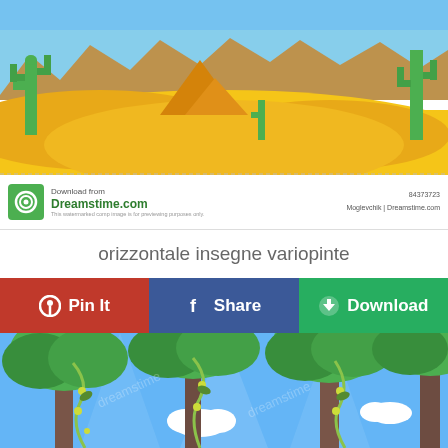[Figure (illustration): Cartoon desert scene with yellow sand dunes, Egyptian pyramids, cacti, blue sky and rocky mountains in background. Dreamstime watermarked stock image.]
[Figure (logo): Dreamstime.com logo with green spiral icon. Text: Download from Dreamstime.com. This watermarked comp image is for previewing purposes only. ID: 84373723. Moglevchik | Dreamstime.com]
orizzontale insegne variopinte
Pin It
Share
Download
[Figure (illustration): Cartoon jungle/forest scene with tall trees, green foliage canopy, hanging vines with yellow berries, blue sky with white clouds visible through trees. Dreamstime watermarked stock image.]